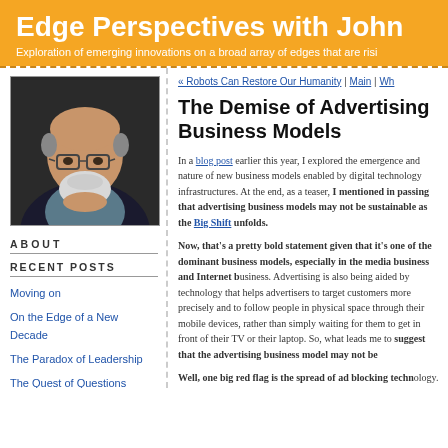Edge Perspectives with John
Exploration of emerging innovations on a broad array of edges that are risi
[Figure (photo): Headshot photo of a bald older man with glasses and a white beard, resting his chin on his hand, wearing a dark jacket.]
ABOUT
RECENT POSTS
Moving on
On the Edge of a New Decade
The Paradox of Leadership
The Quest of Questions
The Quest for Capabilities
Expanding Our Horizons
Business Models and Trust
« Robots Can Restore Our Humanity | Main | Wh
The Demise of Advertising Business Models
In a blog post earlier this year, I explored the emergence and nature of new business models enabled by digital technology infrastructures. At the end, as a teaser, I mentioned in passing that advertising business models may not be sustainable as the Big Shift unfolds.
Now, that's a pretty bold statement given that it's one of the dominant business models, especially in the media business and Internet businesses. Advertising is also being aided by technology that helps advertisers to target customers more precisely and to follow people in physical space through their mobile devices, rather than simply waiting for them to get in front of their TV or their laptop. So, what leads me to suggest that the advertising business model may not be
Well, one big red flag is the spread of ad blocking technology. According to a magazine, use of mobile and desktop ad blocking software grew by 48% in the U.S. between Q2 2014 and Q2 2015. Accordi